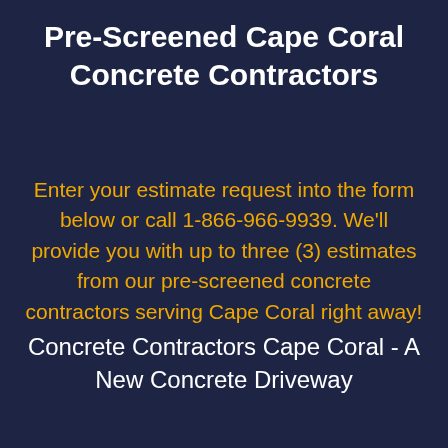Pre-Screened Cape Coral Concrete Contractors
Enter your estimate request into the form below or call 1-866-966-9939. We'll provide you with up to three (3) estimates from our pre-screened concrete contractors serving Cape Coral right away!
Concrete Contractors Cape Coral - A New Concrete Driveway